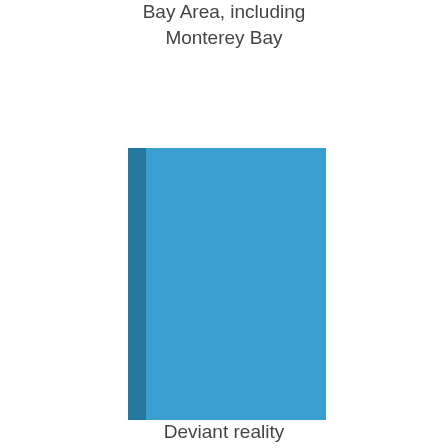[Figure (bar-chart): Bay Area, including Monterey Bay]